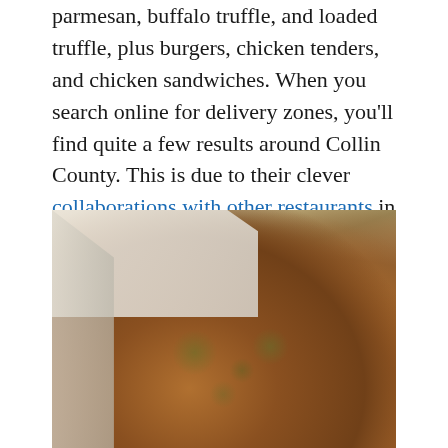parmesan, buffalo truffle, and loaded truffle, plus burgers, chicken tenders, and chicken sandwiches. When you search online for delivery zones, you'll find quite a few results around Collin County. This is due to their clever collaborations with other restaurants in the area.
[Figure (photo): Close-up photo of seasoned fried chicken wings or pieces coated with herbs and parmesan cheese, served in a white cardboard takeout box]